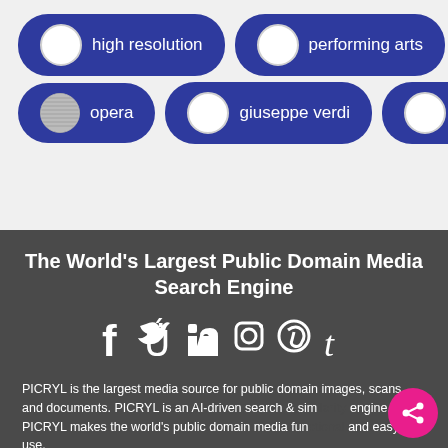[Figure (screenshot): Tag pills showing: high resolution, performing arts, opera, giuseppe verdi, italian opera with circle thumbnails on dark blue pill shapes]
The World's Largest Public Domain Media Search Engine
[Figure (infographic): Social media icons: Facebook, Twitter, LinkedIn, Instagram, Pinterest, Tumblr in white on dark gray background]
PICRYL is the largest media source for public domain images, scans, and documents. PICRYL is an AI-driven search & similarity engine. PICRYL makes the world's public domain media fun and easy to use.